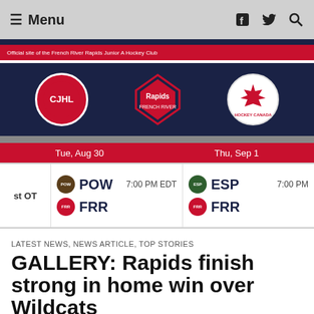Menu | Facebook Twitter Search icons
[Figure (logo): French River Rapids Junior A Hockey Club website header banner with CJHL logo, Rapids mountain logo, and Hockey Canada logo on dark navy background with red stripe]
Tue, Aug 30 | Thu, Sep 1
st OT | POW vs FRR 7:00 PM EDT | ESP vs FRR 7:00 PM
LATEST NEWS, NEWS ARTICLE, TOP STORIES
GALLERY: Rapids finish strong in home win over Wildcats
November 3, 2018
[Figure (photo): Photo strip showing hockey game images]